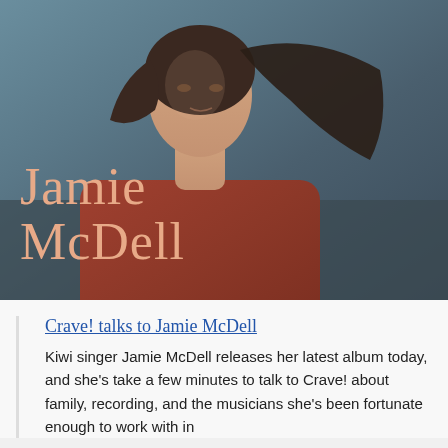[Figure (photo): Photo of a young woman with wind-blown dark hair, wearing a rust/red jacket, looking upward. Overlaid in large peach/salmon serif text: 'Jamie McDell']
Crave! talks to Jamie McDell
Kiwi singer Jamie McDell releases her latest album today, and she's take a few minutes to talk to Crave! about family, recording, and the musicians she's been fortunate enough to work with in